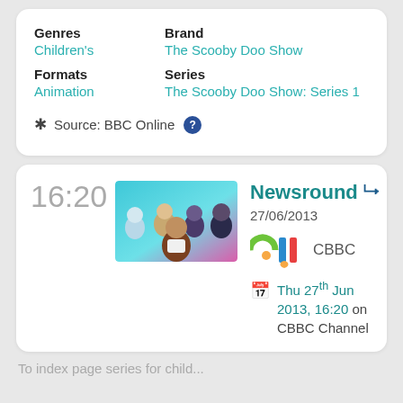Genres: Children's | Brand: The Scooby Doo Show
Formats: Animation | Series: The Scooby Doo Show: Series 1
Source: BBC Online
16:20
[Figure (photo): Group photo of Newsround presenters against teal/purple background]
Newsround
27/06/2013
[Figure (logo): CBBC channel logo]
CBBC
Thu 27th Jun 2013, 16:20 on CBBC Channel
To index page series for child...